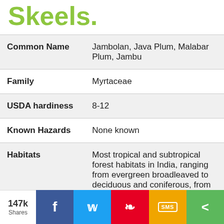Skeels.
| Property | Value |
| --- | --- |
| Common Name | Jambolan, Java Plum, Malabar Plum, Jambu |
| Family | Myrtaceae |
| USDA hardiness | 8-12 |
| Known Hazards | None known |
| Habitats | Most tropical and subtropical forest habitats in India, ranging from evergreen broadleaved to deciduous and coniferous, from |
147k Shares